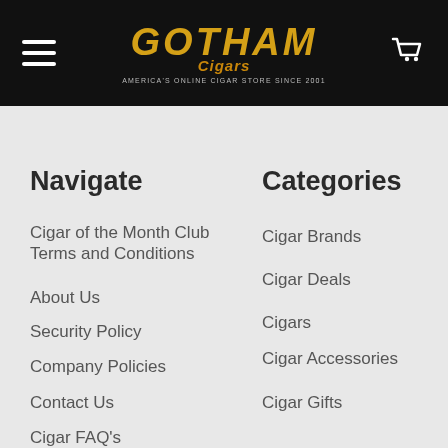Gotham Cigars — America's Online Cigar Store Since 2001
Navigate
Cigar of the Month Club Terms and Conditions
About Us
Security Policy
Company Policies
Contact Us
Cigar FAQ's
Privacy Policy
Categories
Cigar Brands
Cigar Deals
Cigars
Cigar Accessories
Cigar Gifts